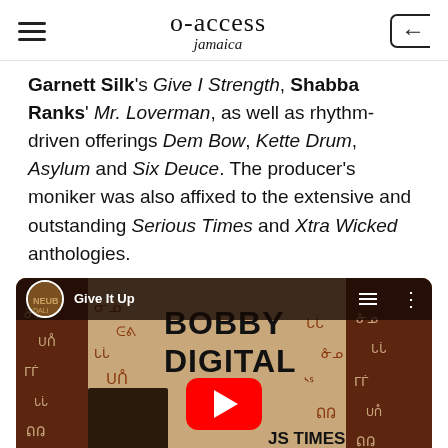o-access jamaica
Garnett Silk's Give I Strength, Shabba Ranks' Mr. Loverman, as well as rhythm-driven offerings Dem Bow, Kette Drum, Asylum and Six Deuce. The producer's moniker was also affixed to the extensive and outstanding Serious Times and Xtra Wicked anthologies.
[Figure (screenshot): YouTube video embed showing Bobby Digital album 'Serious Times' with a man in the foreground, red YouTube play button overlay, and a top bar showing 'Give It Up' video title with channel avatar]